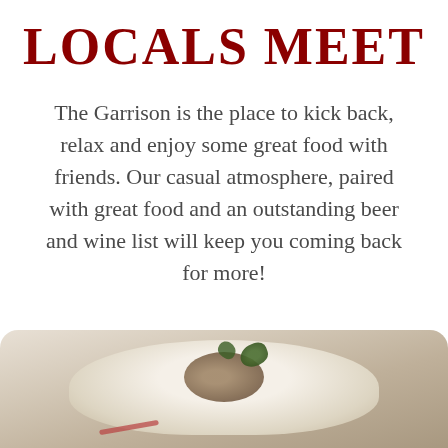LOCALS MEET
The Garrison is the place to kick back, relax and enjoy some great food with friends. Our casual atmosphere, paired with great food and an outstanding beer and wine list will keep you coming back for more!
[Figure (photo): A plate of food, appearing to be a small pastry or pie topped with garnish and greens, on a light-colored background]